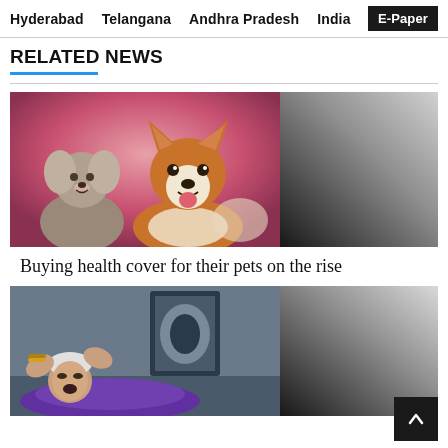Hyderabad  Telangana  Andhra Pradesh  India  E-Paper
RELATED NEWS
[Figure (photo): Two dogs posing against a pink background — a fluffy grey poodle on the left and a corgi on the right, both looking at the camera.]
Buying health cover for their pets on the rise
[Figure (photo): A person lying down with an X-ray image visible on the wall behind them, appearing to be in a medical setting.]